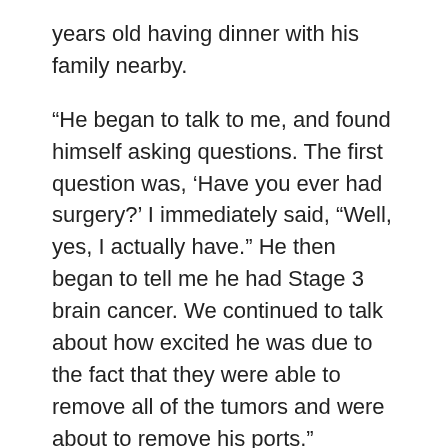years old having dinner with his family nearby.
“He began to talk to me, and found himself asking questions. The first question was, ‘Have you ever had surgery?’ I immediately said, “Well, yes, I actually have.” He then began to tell me he had Stage 3 brain cancer. We continued to talk about how excited he was due to the fact that they were able to remove all of the tumors and were about to remove his ports.”
As dinner progressed, she said they both